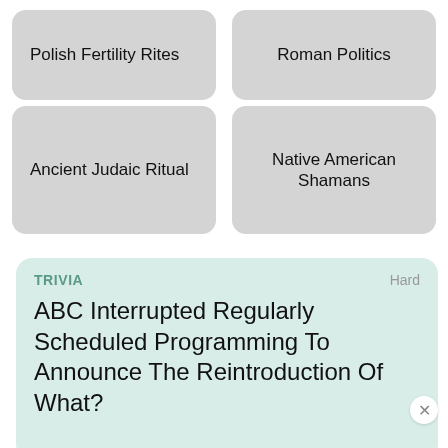Polish Fertility Rites
Roman Politics
Ancient Judaic Ritual
Native American Shamans
TRIVIA
Hard
ABC Interrupted Regularly Scheduled Programming To Announce The Reintroduction Of What?